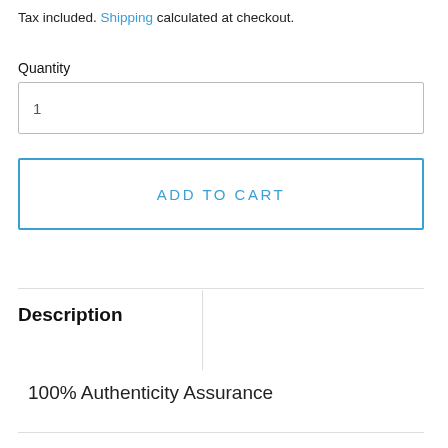Tax included. Shipping calculated at checkout.
Quantity
1
ADD TO CART
Description
100% Authenticity Assurance